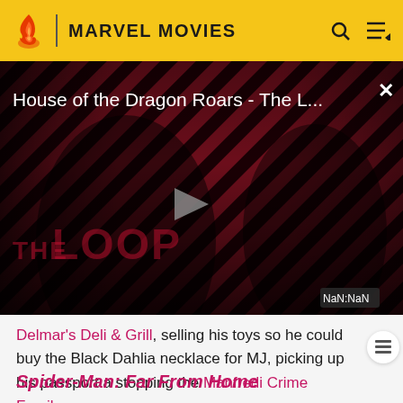MARVEL MOVIES
[Figure (screenshot): Video player showing 'House of the Dragon Roars - The L...' with a play button, diagonal striped dark red/black background, two figures silhouetted, 'THE LOOP' text watermark, and NaN:NaN duration badge]
Delmar's Deli & Grill, selling his toys so he could buy the Black Dahlia necklace for MJ, picking up his passport a stopping the Manfredi Crime Family.
Spider-Man: Far From Home